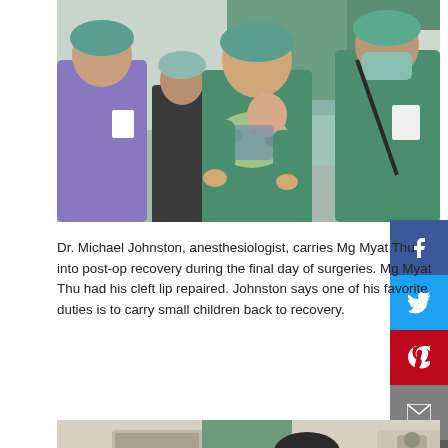[Figure (photo): Medical team in scrubs and surgical caps in a hospital ward. A male doctor in green scrubs holds a baby wrapped in a floral blanket. Two female staff in colorful and green scrubs stand nearby.]
Dr. Michael Johnston, anesthesiologist, carries Mg Myat Thu into post-op recovery during the final day of surgeries. Mg Myat Thu had his cleft lip repaired. Johnston says one of his favorite duties is to carry small children back to recovery.
[Figure (photo): A person in a dark cap and floral scrubs stands in a medical room. Green curtains and medical equipment visible in the background.]